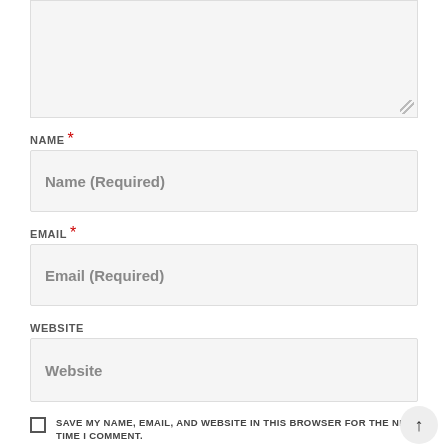[Figure (screenshot): Textarea input box (top portion visible, partially cropped at top of page)]
NAME *
[Figure (screenshot): Name input field with placeholder text 'Name (Required)']
EMAIL *
[Figure (screenshot): Email input field with placeholder text 'Email (Required)']
WEBSITE
[Figure (screenshot): Website input field with placeholder text 'Website']
SAVE MY NAME, EMAIL, AND WEBSITE IN THIS BROWSER FOR THE NEXT TIME I COMMENT.
[Figure (screenshot): reCAPTCHA widget with checkbox and 'I'm not a robot' label, reCAPTCHA logo, Privacy and Terms links]